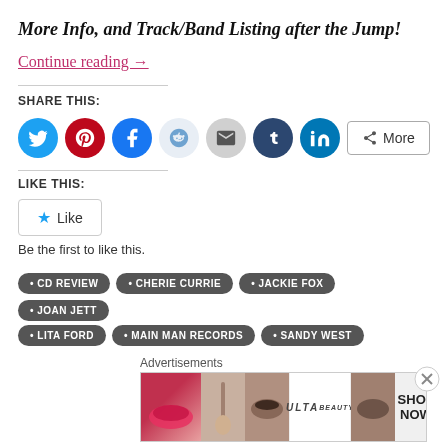More Info, and Track/Band Listing after the Jump!
Continue reading →
SHARE THIS:
[Figure (infographic): Social sharing icons: Twitter (blue circle), Pinterest (red circle), Facebook (blue circle), Reddit (light blue circle), Email (gray circle), Tumblr (dark navy circle), LinkedIn (teal circle), More button]
LIKE THIS:
[Figure (infographic): Like button with star icon and text 'Like']
Be the first to like this.
CD REVIEW
CHERIE CURRIE
JACKIE FOX
JOAN JETT
LITA FORD
MAIN MAN RECORDS
SANDY WEST
Advertisements
[Figure (photo): ULTA Beauty advertisement banner with makeup/beauty images and SHOP NOW call to action]